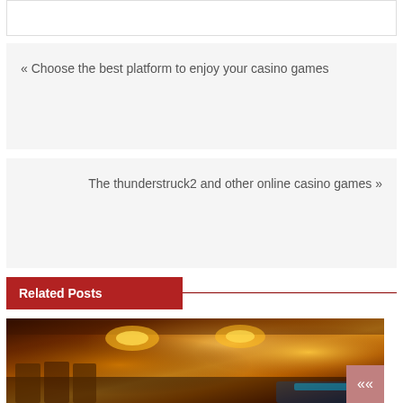« Choose the best platform to enjoy your casino games
The thunderstruck2 and other online casino games »
Related Posts
[Figure (photo): Interior of a casino showing slot machines, chandeliers with warm yellow/gold lighting, and gambling floor]